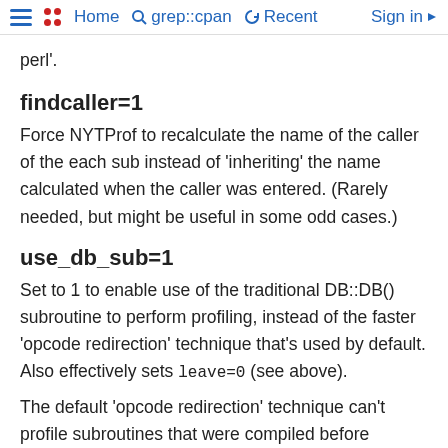Home  grep::cpan  Recent  Sign in
perl'.
findcaller=1
Force NYTProf to recalculate the name of the caller of the each sub instead of 'inheriting' the name calculated when the caller was entered. (Rarely needed, but might be useful in some odd cases.)
use_db_sub=1
Set to 1 to enable use of the traditional DB::DB() subroutine to perform profiling, instead of the faster 'opcode redirection' technique that's used by default. Also effectively sets leave=0 (see above).
The default 'opcode redirection' technique can't profile subroutines that were compiled before NYTProf was loaded. So using use_db_sub=1 can